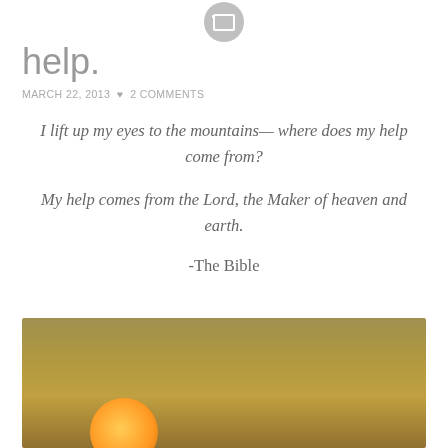[Figure (illustration): Gray avatar icon with image/photo symbol at top center of page]
help.
MARCH 22, 2013  ♥  2 COMMENTS
I lift up my eyes to the mountains— where does my help come from?

My help comes from the Lord, the Maker of heaven and earth.

-The Bible
[Figure (photo): Photograph of a large orange full moon rising against a golden-brown hazy sky]